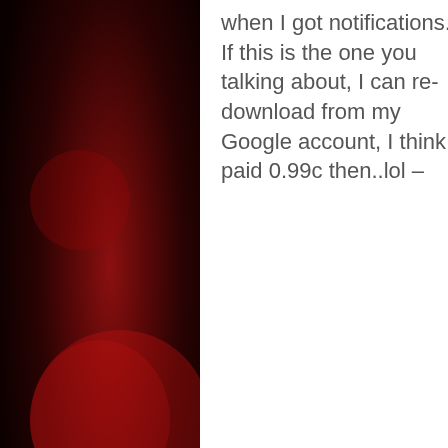[Figure (screenshot): Screenshot of a mobile/web page showing a comment or text passage about downloading an app, overlaid with cookie notice, ad banner, privacy policy bar, related posts bar, and social sharing icons (Twitter, Facebook, Email, WhatsApp, SMS, More).]
when I got notifications. If this is the one you talking about, I can re-download from my Google account, I think I paid 0.99c then..lol –
This website uses cookies to track the number of visitors to the...
BEST AUDIOBOOK PLAYER APP FOR SMARTPHONES (BESIDE...
if you wish... Accept    PRIVACY POLICY   This blog is for...
Risk It All Audiobook by
MARIA GRACE  Neth...